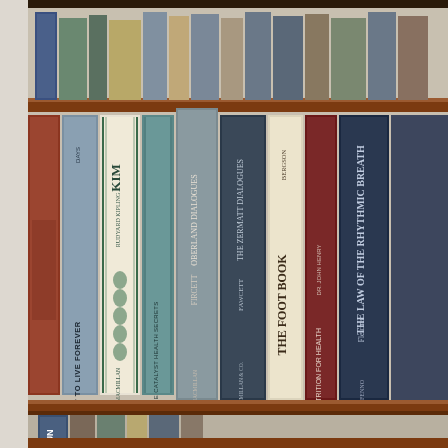[Figure (photo): A wooden bookshelf with two visible shelves holding a row of old hardcover books. The visible book spines on the main middle shelf include (left to right): a reddish-brown book with partially visible text, a blue-grey book titled 'HOW TO LIVE FOREVER', a white/green patterned book titled 'KIM by RUDYARD KIPLING' (Macmillan), a teal/grey book partially titled 'NEW ENZYME CATALYST HEALTH SECRETS', a grey-blue book titled 'OBERLAND DIALOGUES FIRCETT', a dark blue book titled 'THE ZERMATT DIALOGUES FAWCETT' (Macmillan & Co.), a cream/beige book titled 'BERGSON THE FOOT BOOK', a dark red/maroon book titled 'NUTRITION FOR HEALTH DR. JOHN HENRY', and a navy blue book titled 'THE LAW OF THE RHYTHMIC BREATH Fletcher' (Fenno). The top shelf shows additional books including blue and tan spines. The bottom shelf partially shows more books including a visible 'UN' spine.]